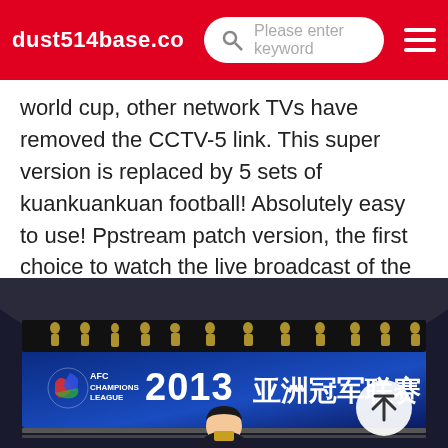dust514base.com  [search bar: Please enter keyword]
world cup, other network TVs have removed the CCTV-5 link. This super version is replaced by 5 sets of kuankuankuan football! Absolutely easy to use! Ppstream patch version, the first choice to watch the live broadcast of the World Cup online! Download address: http://blog.sina �Development history o
[Figure (photo): TV studio backdrop showing AFC Champions League 2013 branding (亚洲冠军联赛) with a female news anchor standing in front of a blue screen display]